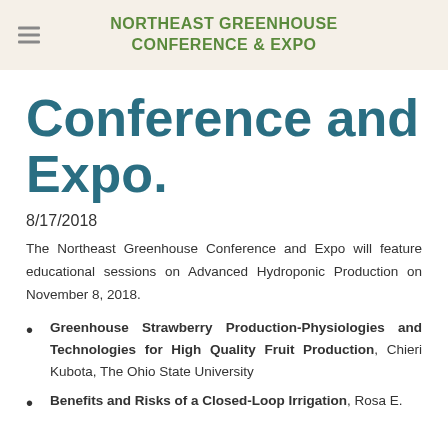NORTHEAST GREENHOUSE CONFERENCE & EXPO
Conference and Expo.
8/17/2018
The Northeast Greenhouse Conference and Expo will feature educational sessions on Advanced Hydroponic Production on November 8, 2018.
Greenhouse Strawberry Production-Physiologies and Technologies for High Quality Fruit Production, Chieri Kubota, The Ohio State University
Benefits and Risks of a Closed-Loop Irrigation, Rosa E.